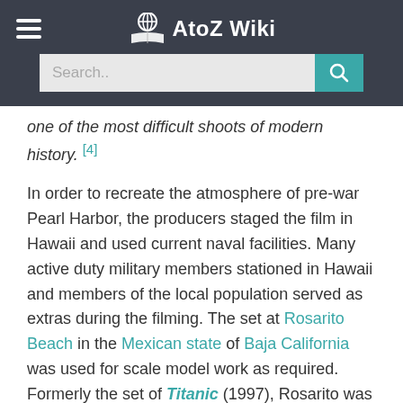AtoZ Wiki — navigation header with search bar
one of the most difficult shoots of modern history. [4]
In order to recreate the atmosphere of pre-war Pearl Harbor, the producers staged the film in Hawaii and used current naval facilities. Many active duty military members stationed in Hawaii and members of the local population served as extras during the filming. The set at Rosarito Beach in the Mexican state of Baja California was used for scale model work as required. Formerly the set of Titanic (1997), Rosarito was the ideal location to recreate the death throes of the battleships in the Pearl Harbor attack. A large-scale model of the bow section of USS Oklahoma mounted on the world's largest gimbal produced an authentic rolling and submerging of the doomed battleship. Production Engineer Nigel Phelps stated that the sequence of the ship rolling out of the water and slapping down would involve one of the "biggest set elements" to be staged. Matched with computer generated imagery, the action had to